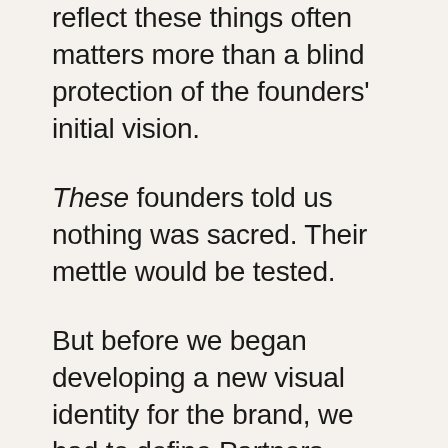reflect these things often matters more than a blind protection of the founders' initial vision.
These founders told us nothing was sacred. Their mettle would be tested.
But before we began developing a new visual identity for the brand, we had to define Partners Trust. We knew what it was, but we wanted to definitely express who it was and why it existed. The words we needed to write were spoken to us in many shades during our interviews. We simply needed to memorialize it.